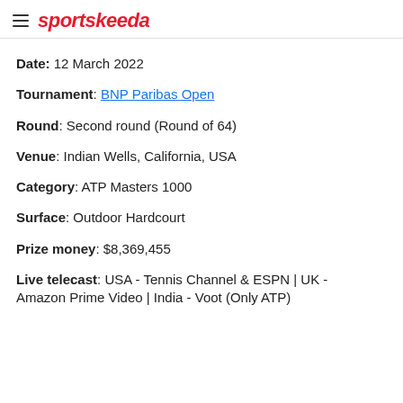sportskeeda
Date: 12 March 2022
Tournament: BNP Paribas Open
Round: Second round (Round of 64)
Venue: Indian Wells, California, USA
Category: ATP Masters 1000
Surface: Outdoor Hardcourt
Prize money: $8,369,455
Live telecast: USA - Tennis Channel & ESPN | UK - Amazon Prime Video | India - Voot (Only ATP)